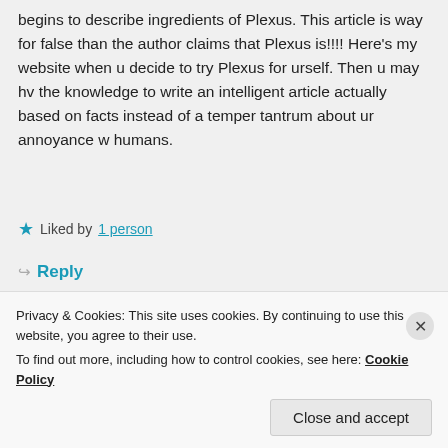begins to describe ingredients of Plexus. This article is way for false than the author claims that Plexus is!!!! Here's my website when u decide to try Plexus for urself. Then u may hv the knowledge to write an intelligent article actually based on facts instead of a temper tantrum about ur annoyance w humans.
★ Liked by 1 person
↪ Reply
MELISSA
August 26, 2016 at 5:37 pm
Privacy & Cookies: This site uses cookies. By continuing to use this website, you agree to their use. To find out more, including how to control cookies, see here: Cookie Policy
Close and accept